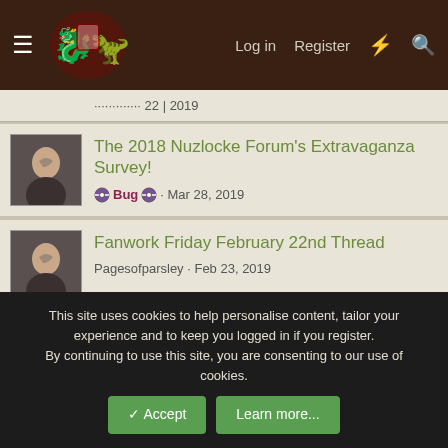Nuzlocke Forums — Log in | Register
[partial thread title] · 2019
The 2018 Nuzlocke Forum's Extravaganza Survey!
Bug · Mar 28, 2019
Fanwork Friday February 22nd Thread
Pagesofparsley · Feb 23, 2019
Fanwork Friday January 25 Thread
Frostmourne · Jan 26, 2019
Unofficial Nuzlocke Book Club
This site uses cookies to help personalise content, tailor your experience and to keep you logged in if you register. By continuing to use this site, you are consenting to our use of cookies.